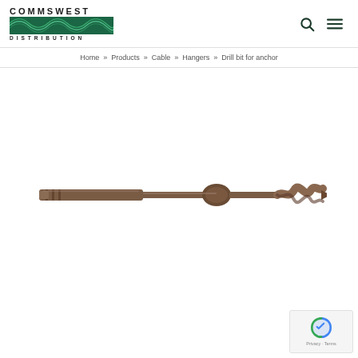COMMSWEST DISTRIBUTION — logo with wave graphic, search and menu icons
Home » Products » Cable » Hangers » Drill bit for anchor
[Figure (photo): A drill bit for anchor — a long metal drill bit with an SDS shank on the left, a cylindrical collar/stop in the middle, and a twisted fluted tip on the right. The bit is brown/bronze colored against a white background.]
[Figure (other): reCAPTCHA badge showing Google reCAPTCHA logo with links to Privacy and Terms]